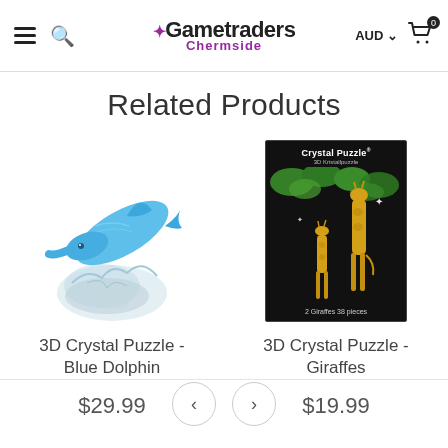Gametraders Chermside — AUD — Cart 0
Related Products
[Figure (photo): 3D Crystal Puzzle Blue Dolphin product photo — a blue transparent crystal dolphin leaping over a clear crystal wave base]
3D Crystal Puzzle - Blue Dolphin
$29.99
[Figure (photo): 3D Crystal Puzzle Giraffes product box — black box with two golden giraffes and green foliage, labeled '2 Giraffes 38 pieces']
3D Crystal Puzzle - Giraffes
$19.99